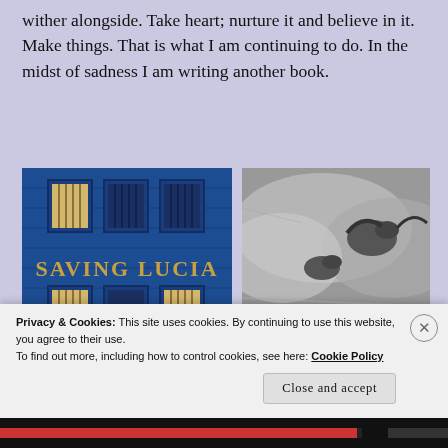wither alongside. Take heart; nurture it and believe in it. Make things. That is what I am continuing to do. In the midst of sadness I am writing another book.
[Figure (photo): Book cover for 'Saving Lucia' showing a blue building facade with barred windows and golden title text]
[Figure (photo): Black and white photograph showing birds or figures in a smoky or cloudy outdoor scene]
Privacy & Cookies: This site uses cookies. By continuing to use this website, you agree to their use.
To find out more, including how to control cookies, see here: Cookie Policy
Close and accept